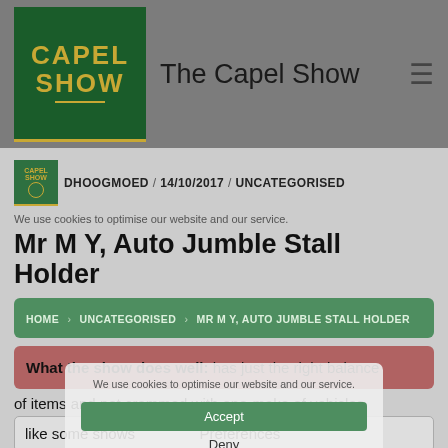The Capel Show
DHOOGMOED / 14/10/2017 / UNCATEGORISED
We use cookies to optimise our website and our service.
Mr M Y, Auto Jumble Stall Holder
HOME > UNCATEGORISED > MR M Y, AUTO JUMBLE STALL HOLDER
What the show does well: has just the right balance of items and not crammed with one-make of vehicles like some shows
Accept
Deny
Preferences
Cookie Policy   Privacy Statement
Any other feedback: just need more toilets especially